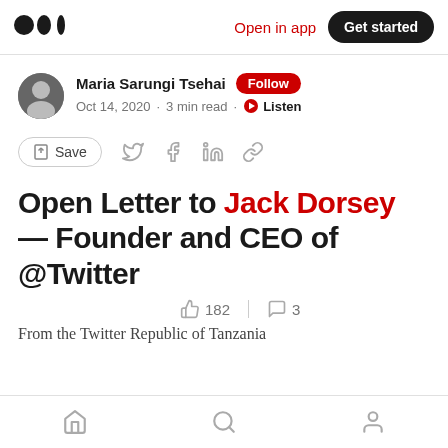Medium logo | Open in app | Get started
Maria Sarungi Tsehai  Follow
Oct 14, 2020 · 3 min read · Listen
Save (social icons)
Open Letter to Jack Dorsey — Founder and CEO of @Twitter
182 claps  3 comments
From the Twitter Republic of Tanzania
Home | Search | Profile